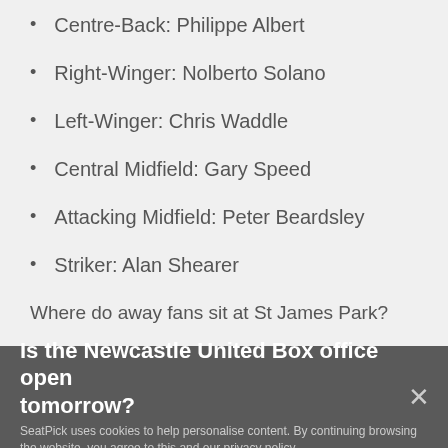Centre-Back: Philippe Albert
Right-Winger: Nolberto Solano
Left-Winger: Chris Waddle
Central Midfield: Gary Speed
Attacking Midfield: Peter Beardsley
Striker: Alan Shearer
Where do away fans sit at St James Park?
There are two types of away stands: the Marsh Kia St James Road Stand (covered standing terrace) and the IP Office Main Stand (seated area).
Is the Newcastle United Box office open tomorrow?
SeatPick uses cookies to help personalise content. By continuing browsing the website, you agree to this and our privacy policy.